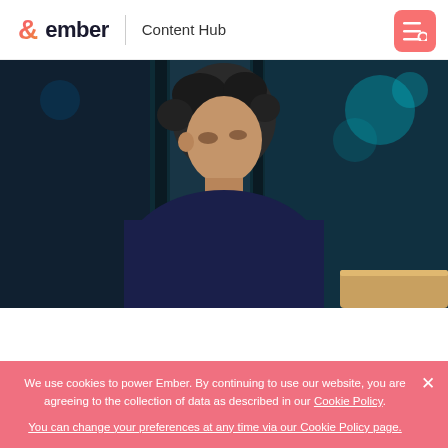ember | Content Hub
[Figure (photo): A man with dark curly hair wearing a navy sweater, looking down at a laptop screen, in a dark blue-teal office environment with bokeh lights in the background.]
We use cookies to power Ember. By continuing to use our website, you are agreeing to the collection of data as described in our Cookie Policy.
You can change your preferences at any time via our Cookie Policy page.